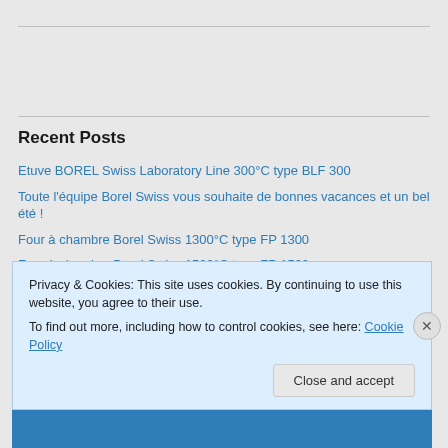Recent Posts
Etuve BOREL Swiss Laboratory Line 300°C type BLF 300
Toute l'équipe Borel Swiss vous souhaite de bonnes vacances et un bel été !
Four à chambre Borel Swiss 1300°C type FP 1300
Four à chambre Borel Swiss 1500°C type FP 1500
Four de traitement thermique Borel Swiss sous gaz inflammable 650 °C type RO 650-P3
Privacy & Cookies: This site uses cookies. By continuing to use this website, you agree to their use.
To find out more, including how to control cookies, see here: Cookie Policy
Close and accept